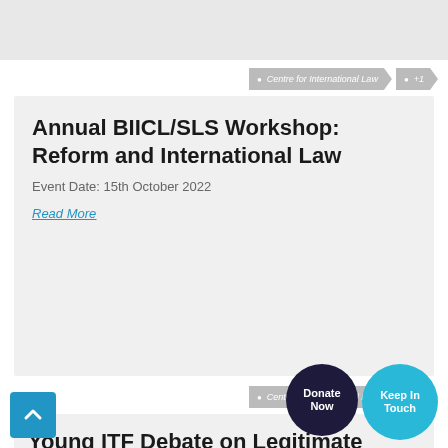Centre for International Law  +1
Annual BIICL/SLS Workshop: Reform and International Law
Event Date: 15th October 2022
Read More
Centre for International Law  +1
Young ITF Debate on Legitimate Expectations
Event Date: 13th September 2022